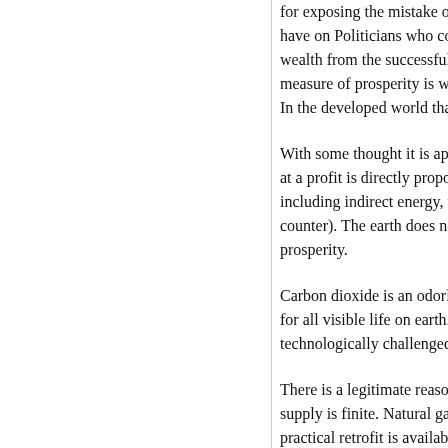for exposing the mistake of Clima... have on Politicians who come up... wealth from the successful to the... measure of prosperity is what fra... In the developed world that ultim...
With some thought it is apparent... at a profit is directly proportional... including indirect energy, that wa... counter). The earth does not char... prosperity.
Carbon dioxide is an odorless, tas... for all visible life on earth. The p... technologically challenged.
There is a legitimate reason to re... supply is finite. Natural gas is use... practical retrofit is available its d... be used to generate electricity. Co...